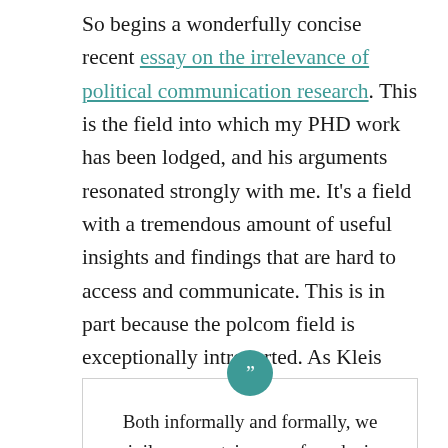So begins a wonderfully concise recent essay on the irrelevance of political communication research. This is the field into which my PHD work has been lodged, and his arguments resonated strongly with me. It's a field with a tremendous amount of useful insights and findings that are hard to access and communicate. This is in part because the polcom field is exceptionally introverted. As Kleis Nielsen puts it:
Both informally and formally, we privilege a certain way of producing